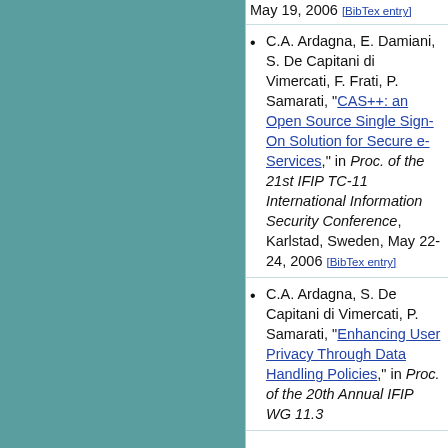May 19, 2006 [BibTex entry]
C.A. Ardagna, E. Damiani, S. De Capitani di Vimercati, F. Frati, P. Samarati, "CAS++: an Open Source Single Sign-On Solution for Secure e-Services," in Proc. of the 21st IFIP TC-11 International Information Security Conference, Karlstad, Sweden, May 22-24, 2006 [BibTex entry]
C.A. Ardagna, S. De Capitani di Vimercati, P. Samarati, "Enhancing User Privacy Through Data Handling Policies," in Proc. of the 20th Annual IFIP WG 11.3